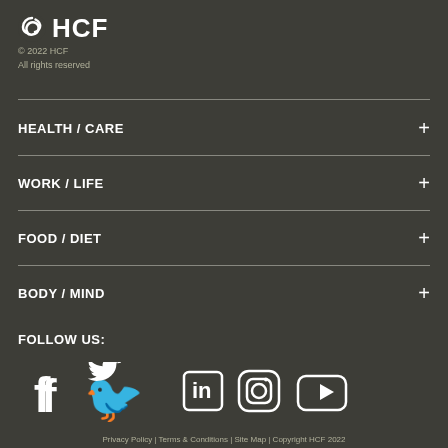HCF
© 2022 HCF
All rights reserved
HEALTH / CARE
WORK / LIFE
FOOD / DIET
BODY / MIND
FOLLOW US:
[Figure (other): Social media icons: Facebook, Twitter, LinkedIn, Instagram, YouTube]
Privacy Policy  |  Terms & Conditions  |  Site Map  |  Copyright HCF 2022